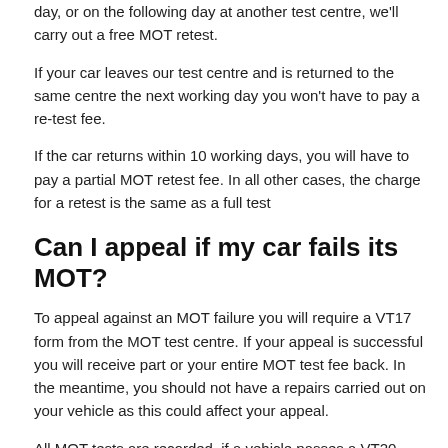day, or on the following day at another test centre, we'll carry out a free MOT retest.
If your car leaves our test centre and is returned to the same centre the next working day you won't have to pay a re-test fee.
If the car returns within 10 working days, you will have to pay a partial MOT retest fee. In all other cases, the charge for a retest is the same as a full test
Can I appeal if my car fails its MOT?
To appeal against an MOT failure you will require a VT17 form from the MOT test centre. If your appeal is successful you will receive part or your entire MOT test fee back. In the meantime, you should not have a repairs carried out on your vehicle as this could affect your appeal.
All MOT tests are recorded, if a vehicle passes a VT20 pass certificate is issued, this will last for one year. If a vehicle fails